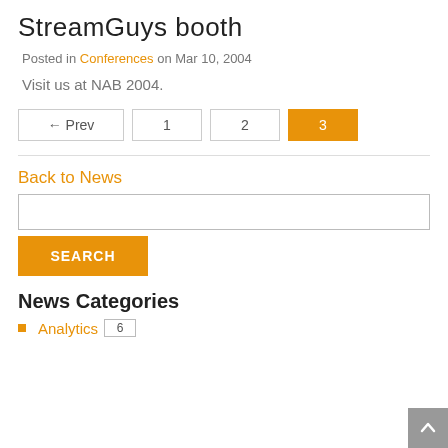StreamGuys booth
Posted in Conferences on Mar 10, 2004
Visit us at NAB 2004.
← Prev  1  2  3
Back to News
SEARCH
News Categories
Analytics  6